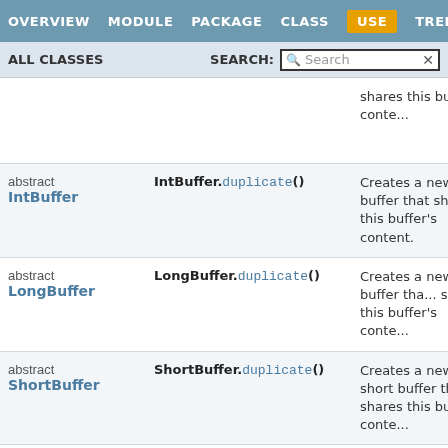OVERVIEW  MODULE  PACKAGE  CLASS  USE  TREE
ALL CLASSES   SEARCH: [Search]
|  | Method | Description |
| --- | --- | --- |
| abstract IntBuffer | IntBuffer.duplicate() | Creates a new buffer that shares this buffer's content. |
| abstract LongBuffer | LongBuffer.duplicate() | Creates a new long buffer that shares this buffer's conte... |
| abstract ShortBuffer | ShortBuffer.duplicate() | Creates a new short buffer that shares this buffer's conte... |
| abstract ByteBuffer | ByteBuffer.slice() | Creates a new byte buffer wh... |